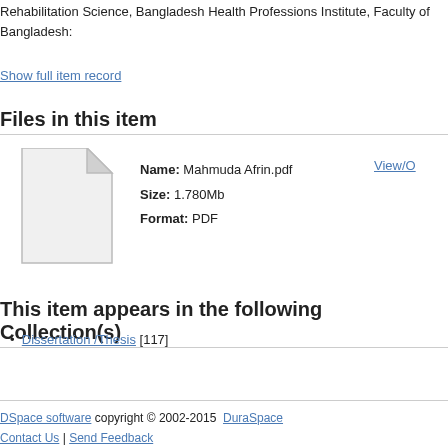Rehabilitation Science, Bangladesh Health Professions Institute, Faculty of Bangladesh:
Show full item record
Files in this item
[Figure (illustration): Generic document/file icon — white page with folded top-right corner]
Name: Mahmuda Afrin.pdf  Size: 1.780Mb  Format: PDF
View/O
This item appears in the following Collection(s)
Dissertation /Thesis [117]
DSpace software copyright © 2002-2015  DuraSpace
Contact Us | Send Feedback